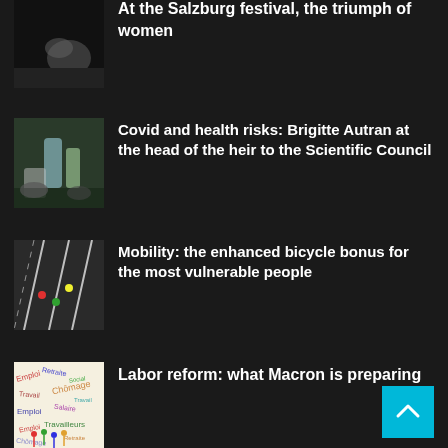[Figure (photo): Partial view of a performance photo — dark background with figure]
At the Salzburg festival, the triumph of women
[Figure (photo): Medical/lab equipment photo — gloved hands with laboratory glassware]
Covid and health risks: Brigitte Autran at the head of the heir to the Scientific Council
[Figure (photo): Aerial view of cyclists on a road with white lane markings]
Mobility: the enhanced bicycle bonus for the most vulnerable people
[Figure (photo): Word cloud/collage image with employment/labor related words and figurines]
Labor reform: what Macron is preparing